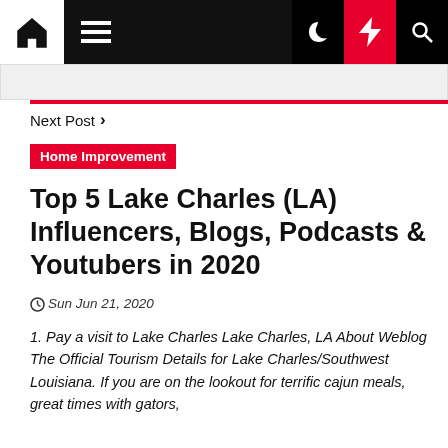Navigation bar with home, menu, moon, flash, and search icons
Next Post >
Home Improvement
Top 5 Lake Charles (LA) Influencers, Blogs, Podcasts & Youtubers in 2020
Sun Jun 21, 2020
1. Pay a visit to Lake Charles Lake Charles, LA About Weblog The Official Tourism Details for Lake Charles/Southwest Louisiana. If you are on the lookout for terrific cajun meals, great times with gators,